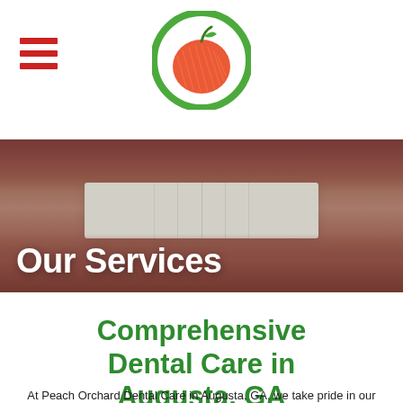[Figure (logo): Peach Orchard Dental Care logo: circular green border with a hand-drawn orange/red apple illustration inside]
[Figure (photo): Close-up photo of a smiling person showing bright white teeth, used as a hero banner image]
Our Services
Comprehensive Dental Care in Augusta, GA
At Peach Orchard Dental Care in Augusta, GA, we take pride in our comprehensive list of dental care services for our patients. You might